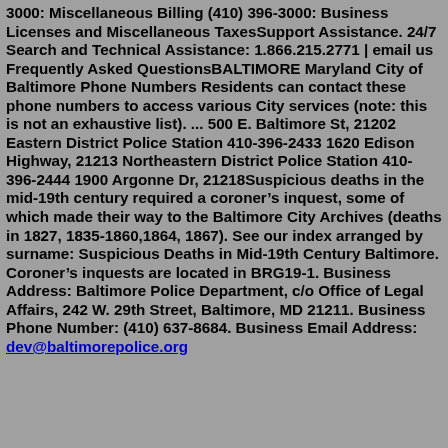3000: Miscellaneous Billing (410) 396-3000: Business Licenses and Miscellaneous TaxesSupport Assistance. 24/7 Search and Technical Assistance: 1.866.215.2771 | email us Frequently Asked QuestionsBALTIMORE Maryland City of Baltimore Phone Numbers Residents can contact these phone numbers to access various City services (note: this is not an exhaustive list). ... 500 E. Baltimore St, 21202 Eastern District Police Station 410-396-2433 1620 Edison Highway, 21213 Northeastern District Police Station 410-396-2444 1900 Argonne Dr, 21218Suspicious deaths in the mid-19th century required a coroner's inquest, some of which made their way to the Baltimore City Archives (deaths in 1827, 1835-1860,1864, 1867). See our index arranged by surname: Suspicious Deaths in Mid-19th Century Baltimore. Coroner's inquests are located in BRG19-1. Business Address: Baltimore Police Department, c/o Office of Legal Affairs, 242 W. 29th Street, Baltimore, MD 21211. Business Phone Number: (410) 637-8684. Business Email Address: dev@baltimorepolice.org